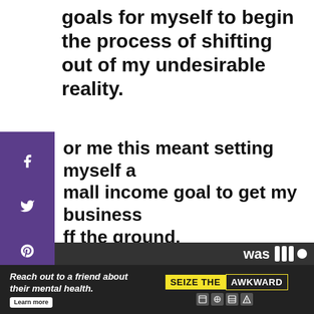goals for myself to begin the process of shifting out of my undesirable reality.
For me this meant setting myself a small income goal to get my business off the ground.
It was something that pushed me out o...
[Figure (other): Social media sharing sidebar with Facebook, Twitter, Pinterest and LinkedIn icons on a purple background]
[Figure (other): Save button (teal/blue with heart icon) and share button (white circle with share icon)]
[Figure (other): Advertisement banner: Reach out to a friend about their mental health. Seize The Awkward. Ad Council logos.]